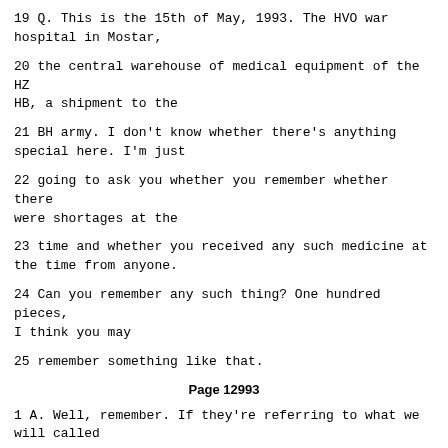19 Q. This is the 15th of May, 1993. The HVO war hospital in Mostar,
20 the central warehouse of medical equipment of the HZ HB, a shipment to the
21 BH army. I don't know whether there's anything special here. I'm just
22 going to ask you whether you remember whether there were shortages at the
23 time and whether you received any such medicine at the time from anyone.
24 Can you remember any such thing? One hundred pieces, I think you may
25 remember something like that.
Page 12993
1 A. Well, remember. If they're referring to what we will called
2 "brown nilej" [phoen], then it's nothing special. Were it some kind of a
3 device, then perhaps I could recognise it. Again, I have to tell you the